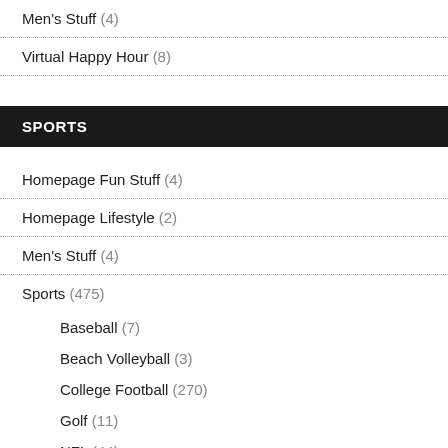Men's Stuff (4)
Virtual Happy Hour (8)
SPORTS
Homepage Fun Stuff (4)
Homepage Lifestyle (2)
Men's Stuff (4)
Sports (475)
Baseball (7)
Beach Volleyball (3)
College Football (270)
Golf (11)
NFL (44)